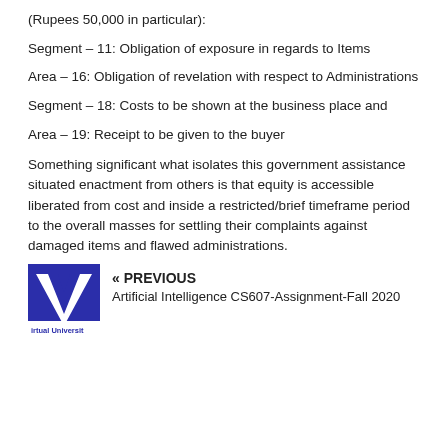(Rupees 50,000 in particular):
Segment – 11: Obligation of exposure in regards to Items
Area – 16: Obligation of revelation with respect to Administrations
Segment – 18: Costs to be shown at the business place and
Area – 19: Receipt to be given to the buyer
Something significant what isolates this government assistance situated enactment from others is that equity is accessible liberated from cost and inside a restricted/brief timeframe period to the overall masses for settling their complaints against damaged items and flawed administrations.
[Figure (logo): Virtual University (VU) logo — blue square with stylized VU letters and text 'irtual Universit' at bottom]
« PREVIOUS
Artificial Intelligence CS607-Assignment-Fall 2020